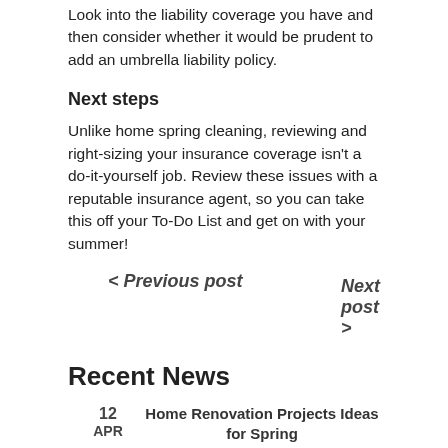Look into the liability coverage you have and then consider whether it would be prudent to add an umbrella liability policy.
Next steps
Unlike home spring cleaning, reviewing and right-sizing your insurance coverage isn't a do-it-yourself job. Review these issues with a reputable insurance agent, so you can take this off your To-Do List and get on with your summer!
< Previous post
Next post >
Recent News
12 APR  Home Renovation Projects Ideas for Spring